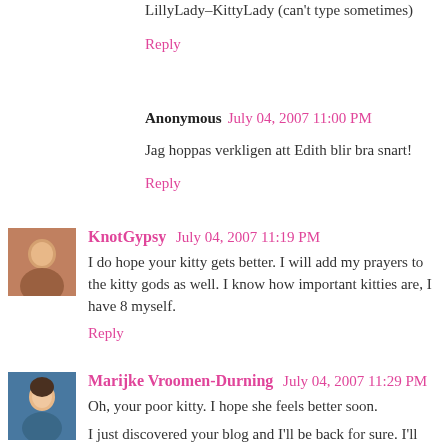LillyLady–KittyLady (can't type sometimes)
Reply
Anonymous  July 04, 2007 11:00 PM
Jag hoppas verkligen att Edith blir bra snart!
Reply
[Figure (photo): Avatar photo of KnotGypsy commenter]
KnotGypsy  July 04, 2007 11:19 PM
I do hope your kitty gets better. I will add my prayers to the kitty gods as well. I know how important kitties are, I have 8 myself.
Reply
[Figure (photo): Avatar photo of Marijke Vroomen-Durning commenter]
Marijke Vroomen-Durning  July 04, 2007 11:29 PM
Oh, your poor kitty. I hope she feels better soon.
I just discovered your blog and I'll be back for sure. I'll have